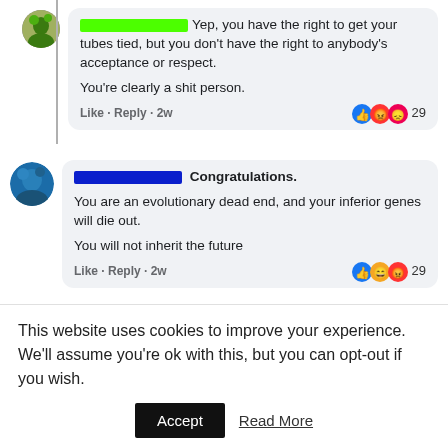[Figure (screenshot): Facebook comment screenshot: user with green avatar and green name bar says 'Yep, you have the right to get your tubes tied, but you don't have the right to anybody's acceptance or respect. You're clearly a shit person.' with 29 reactions (like, angry). Like · Reply · 2w]
[Figure (screenshot): Facebook comment screenshot: user with globe avatar and blue name bar says 'Congratulations. You are an evolutionary dead end, and your inferior genes will die out. You will not inherit the future' with 29 reactions (like, haha, angry). Like · Reply · 2w]
[Figure (screenshot): Facebook comment screenshot: user with globe avatar and cyan name bar says 'This person is disgustingly' (cut off)]
This website uses cookies to improve your experience. We'll assume you're ok with this, but you can opt-out if you wish.
Accept   Read More